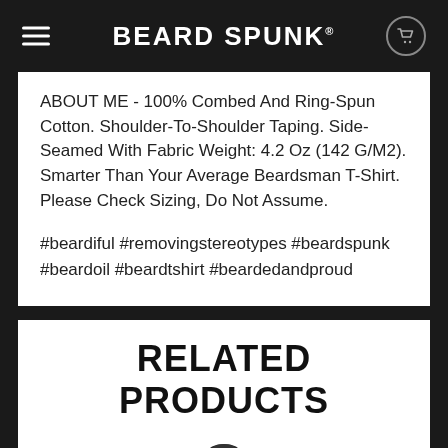BEARD SPUNK®
ABOUT ME - 100% Combed And Ring-Spun Cotton. Shoulder-To-Shoulder Taping. Side-Seamed With Fabric Weight: 4.2 Oz (142 G/M2). Smarter Than Your Average Beardsman T-Shirt. Please Check Sizing, Do Not Assume.
#beardiful #removingstereotypes #beardspunk #beardoil #beardtshirt #beardedandproud
RELATED PRODUCTS
[Figure (photo): Partial product image showing a dark hat at the bottom of the page]